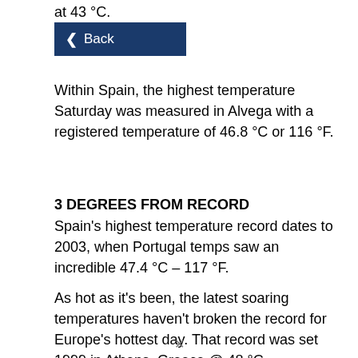high temperature record for the Spanish capital ... at 43 °C.
[Figure (screenshot): Back navigation button with dark blue background and left arrow]
Within Spain, the highest temperature Saturday was measured in Alvega with a registered temperature of 46.8 °C or 116 °F.
3 DEGREES FROM RECORD
Spain's highest temperature record dates to 2003, when Portugal temps saw an incredible 47.4 °C – 117 °F.
As hot as it's been, the latest soaring temperatures haven't broken the record for Europe's hottest day. That record was set 1999 in Athens, Greece @ 48 °C.